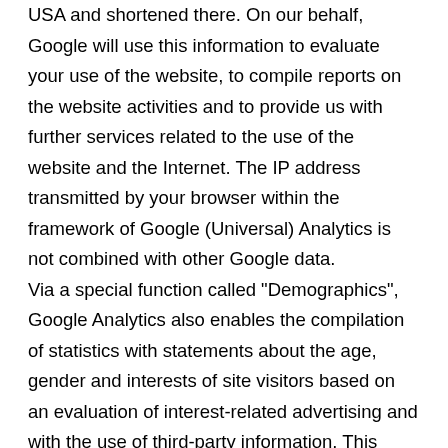USA and shortened there. On our behalf, Google will use this information to evaluate your use of the website, to compile reports on the website activities and to provide us with further services related to the use of the website and the Internet. The IP address transmitted by your browser within the framework of Google (Universal) Analytics is not combined with other Google data. Via a special function called "Demographics", Google Analytics also enables the compilation of statistics with statements about the age, gender and interests of site visitors based on an evaluation of interest-related advertising and with the use of third-party information. This allows the definition and differentiation of user groups of the website for the